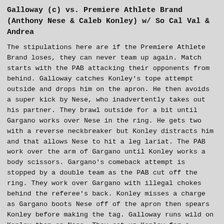Galloway (c) vs. Premiere Athlete Brand (Anthony Nese & Caleb Konley) w/ So Cal Val & Andrea
The stipulations here are if the Premiere Athlete Brand loses, they can never team up again. Match starts with the PAB attacking their opponents from behind. Galloway catches Konley's tope attempt outside and drops him on the apron. He then avoids a super kick by Nese, who inadvertently takes out his partner. They brawl outside for a bit until Gargano works over Nese in the ring. He gets two with a reverse neckbreaker but Konley distracts him and that allows Nese to hit a leg lariat. The PAB work over the arm of Gargano until Konley works a body scissors. Gargano's comeback attempt is stopped by a double team as the PAB cut off the ring. They work over Gargano with illegal chokes behind the referee's back. Konley misses a charge as Gargano boots Nese off of the apron then spears Konley before making the tag. Galloway runs wild on Konley then on Nese. They set up Konley for a double team move but Nese grabs Gargano's leg then the PAB dump Galloway. Konley catches Gargano as he tried his apron spear and drapes him on the ropes as Nese takes him down with a double jump moonsault. Galloway comes back to block a top rop move and fights up top with Konley, eventually taking him off with a German suplex from the tree-of-woe position as that starts up a flurry of moves ending with Gargano nearly putting Nese away with a slingshot